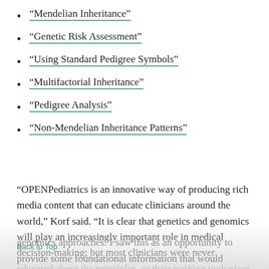“Mendelian Inheritance”
“Genetic Risk Assessment”
“Using Standard Pedigree Symbols”
“Multifactorial Inheritance”
“Pedigree Analysis”
“Non-Mendelian Inheritance Patterns”
“OPENPediatrics is an innovative way of producing rich media content that can educate clinicians around the world,” Korf said. “It is clear that genetics and genomics will play an increasingly important role in medical decision-making; but most clinicians were never educated about the principles, or their training took place a long time ago, predating most present-day genomics approaches. I saw this as an opportunity to provide some foundational information that would
Back to Top